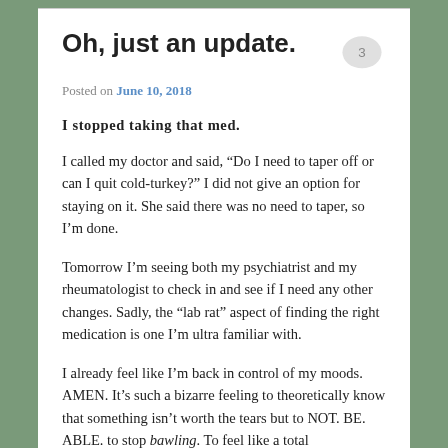Oh, just an update.
Posted on June 10, 2018
I stopped taking that med.
I called my doctor and said, “Do I need to taper off or can I quit cold-turkey?” I did not give an option for staying on it. She said there was no need to taper, so I’m done.
Tomorrow I’m seeing both my psychiatrist and my rheumatologist to check in and see if I need any other changes. Sadly, the “lab rat” aspect of finding the right medication is one I’m ultra familiar with.
I already feel like I’m back in control of my moods. AMEN. It’s such a bizarre feeling to theoretically know that something isn’t worth the tears but to NOT. BE. ABLE. to stop bawling. To feel like a total